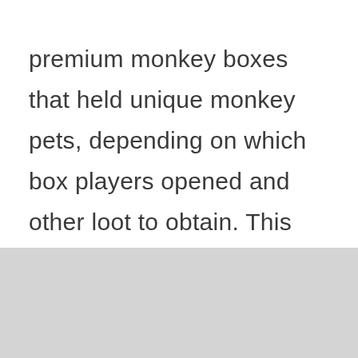premium monkey boxes that held unique monkey pets, depending on which box players opened and other loot to obtain. This time we also might get the same quality stuff and if that's the case, it'd be very amazing. Now then, for those who are wondering when will the Monkey